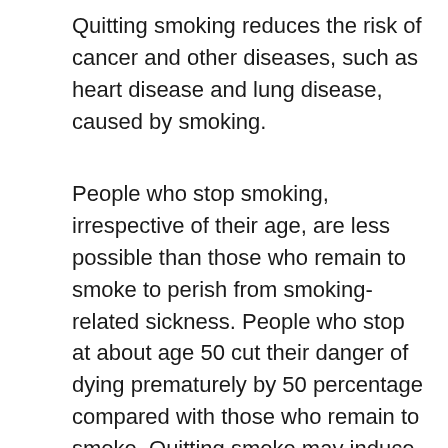Quitting smoking reduces the risk of cancer and other diseases, such as heart disease and lung disease, caused by smoking.
People who stop smoking, irrespective of their age, are less possible than those who remain to smoke to perish from smoking-related sickness. People who stop at about age 50 cut their danger of dying prematurely by 50 percentage compared with those who remain to smoke. Quitting smoke may induce short-term problems. Depression, anxiety, uneasiness, weight increase, and new problems are symptoms of nicotine withdrawal. When you stop smoking 20 hours carbon monoxide clears from your system. Oxygen levels climb and you have much vitality. When you stop smoking a year your danger of an eye blast has fallen to about half that of a smoker.